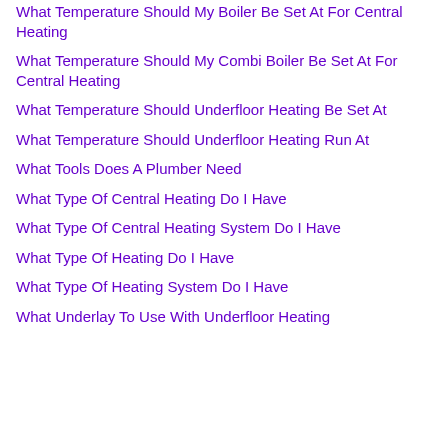What Temperature Should My Boiler Be Set At For Central Heating
What Temperature Should My Combi Boiler Be Set At For Central Heating
What Temperature Should Underfloor Heating Be Set At
What Temperature Should Underfloor Heating Run At
What Tools Does A Plumber Need
What Type Of Central Heating Do I Have
What Type Of Central Heating System Do I Have
What Type Of Heating Do I Have
What Type Of Heating System Do I Have
What Underlay To Use With Underfloor Heating